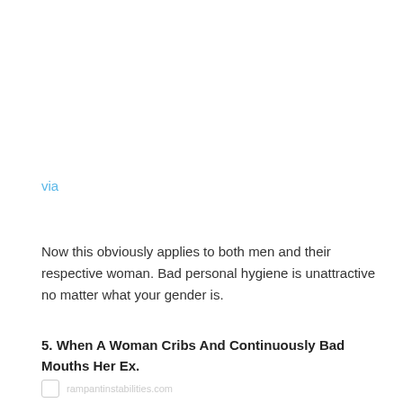via
Now this obviously applies to both men and their respective woman. Bad personal hygiene is unattractive no matter what your gender is.
5. When A Woman Cribs And Continuously Bad Mouths Her Ex.
rampantinstabilities.com